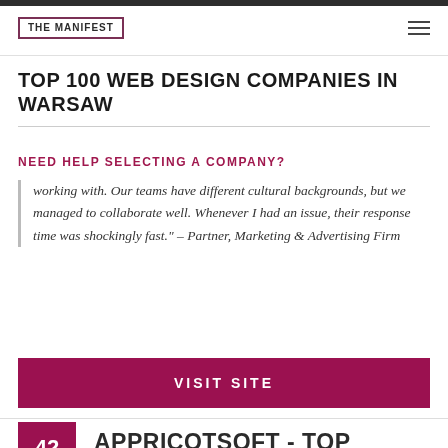THE MANIFEST
TOP 100 WEB DESIGN COMPANIES IN WARSAW
NEED HELP SELECTING A COMPANY?
working with. Our teams have different cultural backgrounds, but we managed to collaborate well. Whenever I had an issue, their response time was shockingly fast." – Partner, Marketing & Advertising Firm
VISIT SITE
42
APPRICOTSOFT - TOP